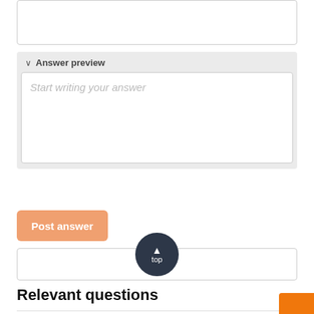[Figure (screenshot): Empty text input box at top of page]
Answer preview
Start writing your answer
Post answer
Clear
Relevant questions
AWS VPN with Private IP a...
ACCEPTED ANSWER
[Figure (other): Dark circular 'top' navigation button with upward arrow]